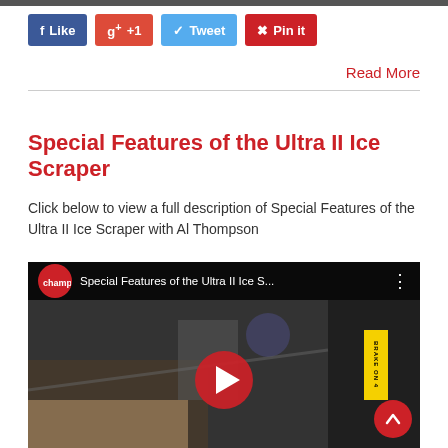[Figure (screenshot): Top edge of a webpage showing a cropped equipment image]
f Like  g+ +1  Tweet  Pin it
Read More
Special Features of the Ultra II Ice Scraper
Click below to view a full description of Special Features of the Ultra II Ice Scraper with Al Thompson
[Figure (screenshot): YouTube video thumbnail showing 'Special Features of the Ultra II Ice S...' with play button overlay, showing machinery/equipment in background]